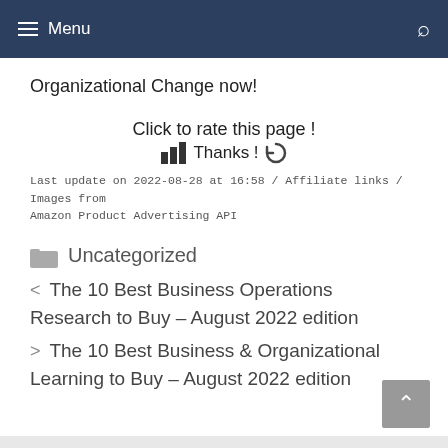≡ Menu
Organizational Change now!
Click to rate this page !
Thanks !
Last update on 2022-08-28 at 16:58 / Affiliate links / Images from Amazon Product Advertising API
Uncategorized
< The 10 Best Business Operations Research to Buy – August 2022 edition
> The 10 Best Business & Organizational Learning to Buy – August 2022 edition